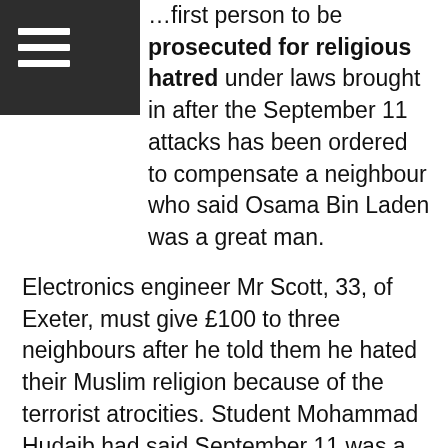first person to be prosecuted for religious hatred under laws brought in after the September 11 attacks has been ordered to compensate a neighbour who said Osama Bin Laden was a great man.
Electronics engineer Mr Scott, 33, of Exeter, must give £100 to three neighbours after he told them he hated their Muslim religion because of the terrorist atrocities. Student Mohammad Hudaib had said September 11 was a great day. Bin Laden was a great man and all Americans deserved to die. He also spat and insulted Scott's family. Scott, who admitted religiously aggravated threatening behaviour, was also ordered by Exeter magistrates to do 200 hours community service.
[5] ↵ Jesus also said that in the last days the signs and wonders performed will be so great